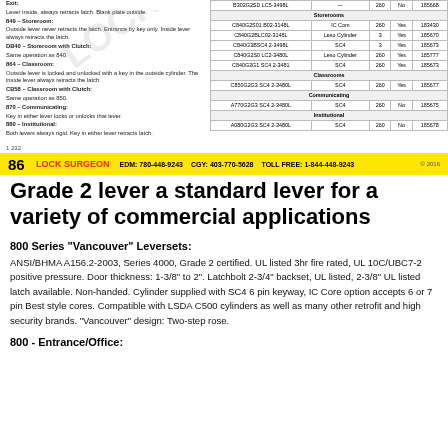Exit: Lever inside, always retracts latch. Blank plate outside.
849 – Storeroom: Outside lever never retracts the latch. Entrance by key only. Inside lever always retracts the latch.
DB40 – Storeroom with Clutch: Same operation as 840.
864 – Classroom: Outside lever is locked and unlocked with a key in the outside cylinder. The inside lever always retracts the latch.
DB58 – Classroom with Clutch: Same operation as 850.
870 – Communicating: Key in either lever locks or unlocks that lever.
880 – Institutional: Both levers always rigid. Key in either lever retracts latch.
| Model | Cylinder | Backset | Keyed | Item# |
| --- | --- | --- | --- | --- |
| B302G2SD LC5-3498 | — | 260 | No | 185668 |
| Storerooms |  |  |  |  |
| C840G2S01 B02-3148L | IC Com | 260 | Yes | 183430 |
| C840G2BLC02-3148L | Leso Cylinder | 3 | Yes | 185670 |
| C840G3BSC4 2-3498L | SC4 | 3 | Yes | 185673 |
| C840G2S0 LC2-3480L | Leso Cylinder | 260 | Yes | 185777 |
| C840G2G1 SC4 2-3481 | SC4 | 260 | Yes | 185673 |
| Classrooms |  |  |  |  |
| C850G2G3 SC4 2-3480L | SC4 | 260 | Yes | 185677 |
| Communicating |  |  |  |  |
| A770G2G3 SC4 2-3480L | SC4 | 260 | No | 185675 |
| Institutional |  |  |  |  |
| A080G2G3 SC4 2-3480L | SC4 | 260 | No | 185678 |
1 232
86   LOCK SURGEON   EDM: 780-448-9243   CGY: 403-770-5628   TOLL FREE: 1-844-448-9243   © 2016
Grade 2 lever a standard lever for a variety of commercial applications
800 Series "Vancouver" Leversets:
ANSI/BHMA A156.2-2003, Series 4000, Grade 2 certified. UL listed 3hr fire rated, UL 10C/UBC7-2 positive pressure. Door thickness: 1-3/8" to 2". Latchbolt 2-3/4" backset, UL listed, 2-3/8" UL listed latch available. Non-handed. Cylinder supplied with SC4 6 pin keyway, IC Core option accepts 6 or 7 pin Best style cores. Compatible with LSDA C500 cylinders as well as many other retrofit and high security brands. "Vancouver" design: Two-step rose.
800 - Entrance/Office: